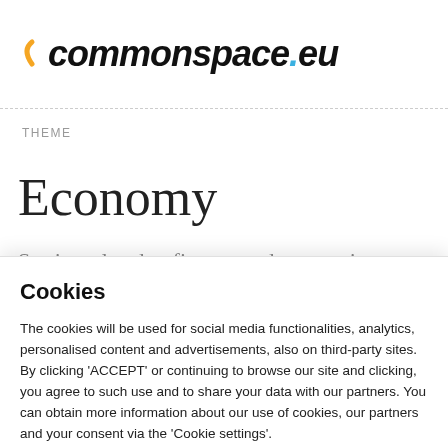commonspace.eu
THEME
Economy
Stories related to finance and economics
Cookies
The cookies will be used for social media functionalities, analytics, personalised content and advertisements, also on third-party sites. By clicking 'ACCEPT' or continuing to browse our site and clicking, you agree to such use and to share your data with our partners. You can obtain more information about our use of cookies, our partners and your consent via the 'Cookie settings'.
Cookie settings   Accept